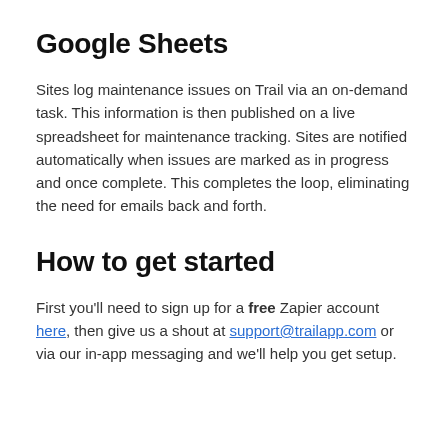Google Sheets
Sites log maintenance issues on Trail via an on-demand task. This information is then published on a live spreadsheet for maintenance tracking. Sites are notified automatically when issues are marked as in progress and once complete. This completes the loop, eliminating the need for emails back and forth.
How to get started
First you'll need to sign up for a free Zapier account here, then give us a shout at support@trailapp.com or via our in-app messaging and we'll help you get setup.